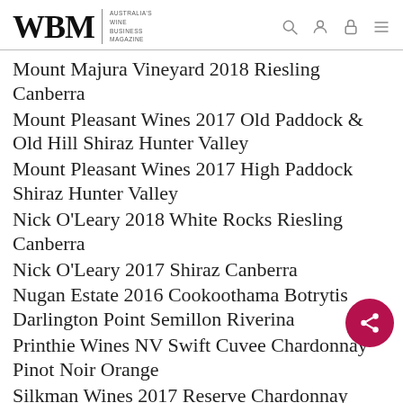WBM — Australia's Wine Business Magazine
Mount Majura Vineyard 2018 Riesling Canberra
Mount Pleasant Wines 2017 Old Paddock & Old Hill Shiraz Hunter Valley
Mount Pleasant Wines 2017 High Paddock Shiraz Hunter Valley
Nick O'Leary 2018 White Rocks Riesling Canberra
Nick O'Leary 2017 Shiraz Canberra
Nugan Estate 2016 Cookoothama Botrytis Darlington Point Semillon Riverina
Printhie Wines NV Swift Cuvee Chardonnay Pinot Noir Orange
Silkman Wines 2017 Reserve Chardonnay Hunter Valley